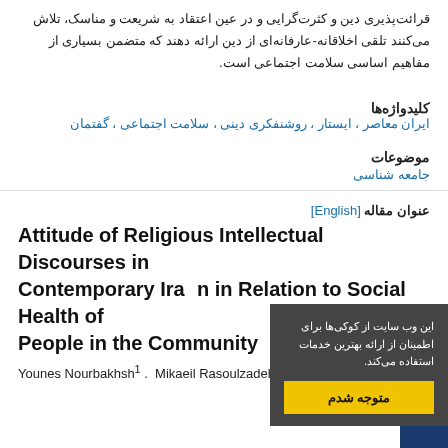قرائت‌پذیری دین و کثرت‌گرایی و در عین اعتقاد به شریعت و مناسک، تلاش می‌کنند تلقی اخلاقانه-عارفانه‌ای از دین ارائه دهند که متضمن بسیاری از مفاهیم اساسی سلامت اجتماعی است.
کلیدواژه‌ها
ایران معاصر ،  ایستار ،  روشنفکری دینی ،  سلامت اجتماعی ،  گفتمان
موضوعات
جامعه شناسی
عنوان مقاله [English]
Attitude of Religious Intellectual Discourses in Contemporary Iran in Relation to Social Health of People in the Community
این وب سایت از کوکی‌ها برای اطمینان از ارائه بهترین خدمات استفاده می‌کند.
متوجه شدم
Younes Nourbakhsh 1 .  Mikaeil Rasoulzadeh 2